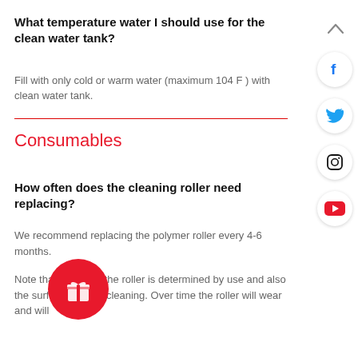What temperature water I should use for the clean water tank?
Fill with only cold or warm water (maximum 104 F ) with clean water tank.
Consumables
How often does the cleaning roller need replacing?
We recommend replacing the polymer roller every 4-6 months.
Note that the life of the roller is determined by use and also the surface you are cleaning. Over time the roller will wear and will